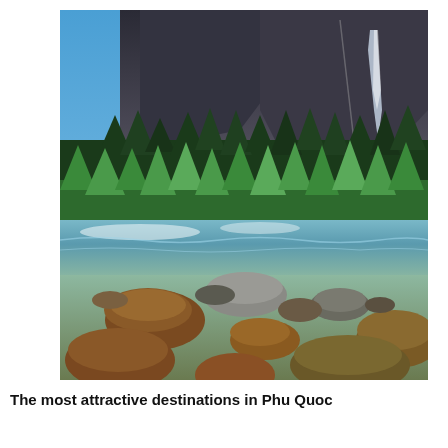[Figure (photo): A scenic nature photograph showing a rocky river in the foreground with rounded stones of brown and grey hues, flowing blue-green water in the middle ground, a dense forest of green conifer and deciduous trees, and towering rocky mountain cliffs with a waterfall in the background under a blue sky.]
The most attractive destinations in Phu Quoc